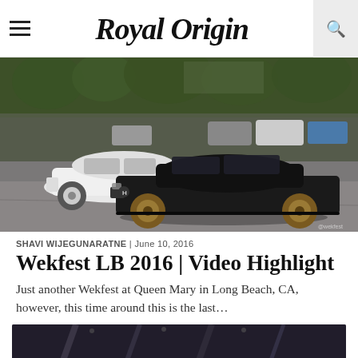Royal Origin
[Figure (photo): Two lowered/slammed cars (a white coupe and a black Honda Civic coupe with bronze wheels) parked at a car show event with trees and other cars in background. Wekfest LB 2016.]
SHAVI WIJEGUNARATNE | June 10, 2016
Wekfest LB 2016 | Video Highlight
Just another Wekfest at Queen Mary in Long Beach, CA, however, this time around this is the last...
[Figure (photo): Partial view of a second article's featured image, dark toned photo showing what appears to be an interior or structure.]